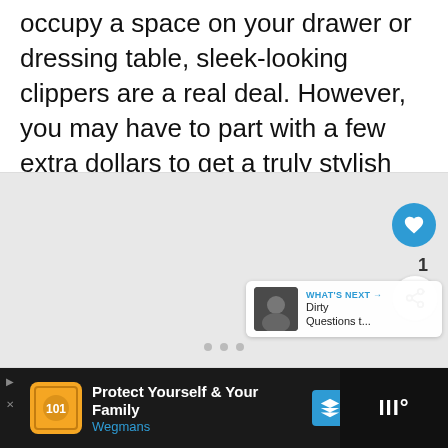occupy a space on your drawer or dressing table, sleek-looking clippers are a real deal. However, you may have to part with a few extra dollars to get a truly stylish pair.
[Figure (screenshot): Image carousel area with like button (heart icon, count=1), share button, dots navigation, and 'What's Next' card showing 'Dirty Questions t...' with thumbnail]
[Figure (screenshot): Advertisement banner: 'Protect Yourself & Your Family - Wegmans' with orange logo, blue arrow icon, dark background, and Wired logo on right]